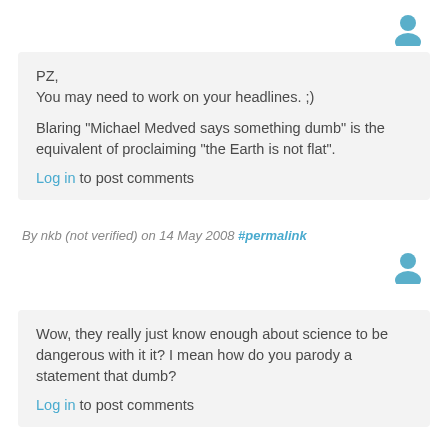[Figure (illustration): User avatar icon (person silhouette) in teal/blue, top right]
PZ,
You may need to work on your headlines. ;)

Blaring "Michael Medved says something dumb" is the equivalent of proclaiming "the Earth is not flat".

Log in to post comments
By nkb (not verified) on 14 May 2008 #permalink
[Figure (illustration): User avatar icon (person silhouette) in teal/blue, second comment]
Wow, they really just know enough about science to be dangerous with it it? I mean how do you parody a statement that dumb?

Log in to post comments